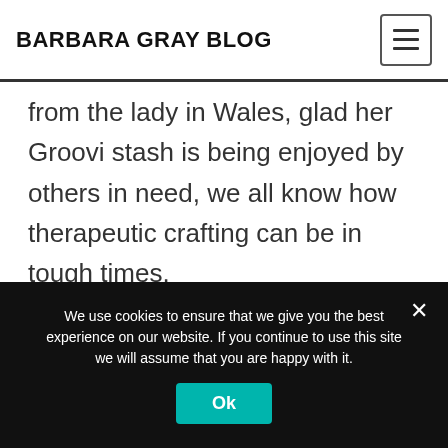BARBARA GRAY BLOG
from the lady in Wales, glad her Groovi stash is being enjoyed by others in need, we all know how therapeutic crafting can be in tough times.

Lovely inspiration from the DT, I will catch up with Tina and Paul
We use cookies to ensure that we give you the best experience on our website. If you continue to use this site we will assume that you are happy with it.